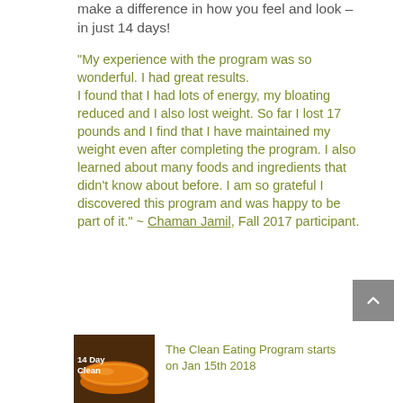make a difference in how you feel and look – in just 14 days!
"My experience with the program was so wonderful. I had great results. I found that I had lots of energy, my bloating reduced and I also lost weight. So far I lost 17 pounds and I find that I have maintained my weight even after completing the program. I also learned about many foods and ingredients that didn't know about before. I am so grateful I discovered this program and was happy to be part of it." ~ Chaman Jamil, Fall 2017 participant.
[Figure (photo): Photo of a bowl of orange soup/smoothie with text overlay reading '14 Day Clean' in white]
The Clean Eating Program starts on Jan 15th 2018